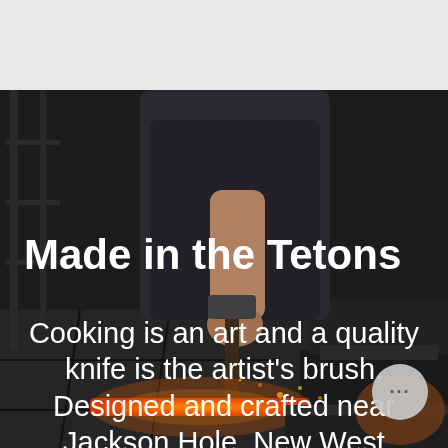[Figure (photo): Dark workshop photo showing a blacksmith/craftsman holding a hammer, with a glowing hot knife blade on an anvil. The scene is dimly lit with industrial tools visible in the background.]
Made in the Tetons
Cooking is an art and a quality knife is the artist's brush. Designed and crafted near Jackson Hole, New West KnifeWorks makes world-